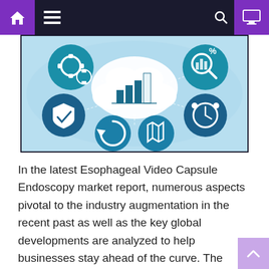Navigation bar with home, menu, search, and monitor icons
[Figure (infographic): Market research infographic showing a bar chart in a cloud in the center, surrounded by teal circular icons: gear/settings, shield, refresh/sync, map/location, alarm clock, and magnifier/analytics, on a light blue world map background]
In the latest Esophageal Video Capsule Endoscopy market report, numerous aspects pivotal to the industry augmentation in the recent past as well as the key global developments are analyzed to help businesses stay ahead of the curve. The research document has been put together in a manner that aids companies in better understanding the prevailing trends and identifying future growth